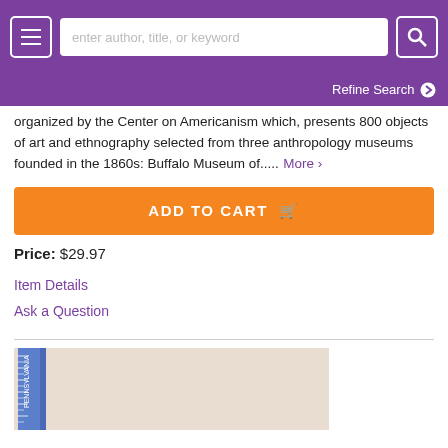enter author, title, or keyword | Refine Search
organized by the Center on Americanism which, presents 800 objects of art and ethnography selected from three anthropology museums founded in the 1860s: Buffalo Museum of.....
ADD TO CART
Price: $29.97
Item Details
Ask a Question
[Figure (photo): Partial view of a book with a ruler beside it on a light background]